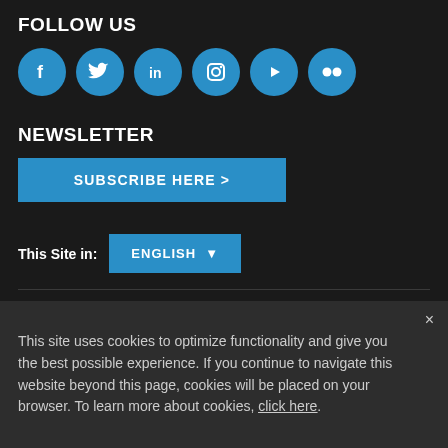FOLLOW US
[Figure (infographic): Six blue circular social media icons: Facebook (f), Twitter (bird), LinkedIn (in), Instagram (camera), YouTube (play button), Flickr (two circles)]
NEWSLETTER
SUBSCRIBE HERE >
This Site in:  ENGLISH ▼
Legal  |  Privacy Notice  |  Site Accessibility  |  Access to Information  |
Jobs  |  Contact
SCAM ALERTS | REPORT FRAUD OR CORRUPTION
This site uses cookies to optimize functionality and give you the best possible experience. If you continue to navigate this website beyond this page, cookies will be placed on your browser. To learn more about cookies, click here.